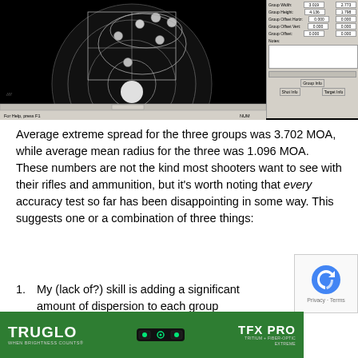[Figure (screenshot): Screenshot of a ballistic/shooting software showing a black target with shot groups plotted, and a panel on the right showing Group Width: 3.019 / 2.773, Group Height: 4.136 / 1.798, Group Offset Horiz: 0.000 / 0.000, Group Offset Vert: 0.000 / 0.000, Group Offset: 0.000 / 0.000, with Notes field and tabs for Group Info, Shot Info, Target Info.]
Average extreme spread for the three groups was 3.702 MOA, while average mean radius for the three was 1.096 MOA. These numbers are not the kind most shooters want to see with their rifles and ammunition, but it's worth noting that every accuracy test so far has been disappointing in some way. This suggests one or a combination of three things:
My (lack of?) skill is adding a significant amount of dispersion to each group
The 14.5" upper I am using has some accuracy issue
Science is unkind to our previously held notions about rif…
[Figure (photo): TRUGLO TFX PRO advertisement banner — green background with TRUGLO logo on left, firearm sights in center, TFX PRO Tritium + Fiber Optic Extreme text on right]